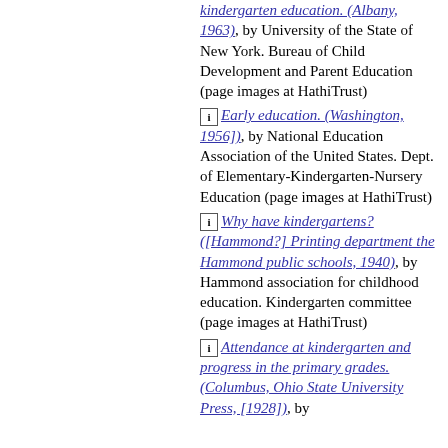[i] kindergarten education. (Albany, 1963), by University of the State of New York. Bureau of Child Development and Parent Education (page images at HathiTrust)
[i] Early education. (Washington, 1956]), by National Education Association of the United States. Dept. of Elementary-Kindergarten-Nursery Education (page images at HathiTrust)
[i] Why have kindergartens? ([Hammond?] Printing department the Hammond public schools, 1940), by Hammond association for childhood education. Kindergarten committee (page images at HathiTrust)
[i] Attendance at kindergarten and progress in the primary grades. (Columbus, Ohio State University Press, [1928]), by